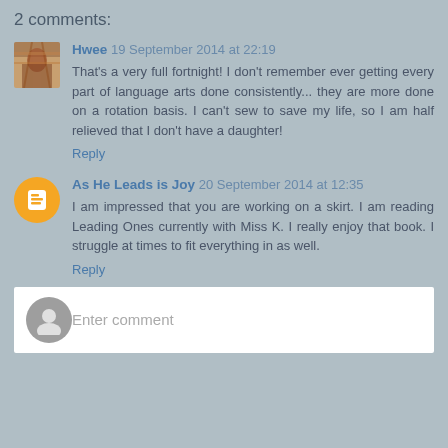2 comments:
Hwee 19 September 2014 at 22:19
That's a very full fortnight! I don't remember ever getting every part of language arts done consistently... they are more done on a rotation basis. I can't sew to save my life, so I am half relieved that I don't have a daughter!
Reply
As He Leads is Joy 20 September 2014 at 12:35
I am impressed that you are working on a skirt. I am reading Leading Ones currently with Miss K. I really enjoy that book. I struggle at times to fit everything in as well.
Reply
Enter comment